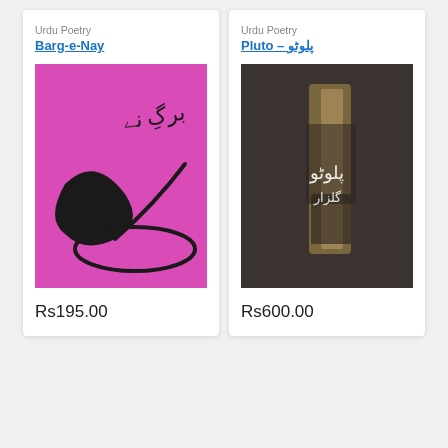Urdu Poetry
Barg-e-Nay
[Figure (illustration): Book cover of Barg-e-Nay: pink/magenta background with black Urdu calligraphy]
Rs195.00
Urdu Poetry
Pluto – پلوٹو
[Figure (illustration): Book cover of Pluto: dark grayish-brown photographic background with white Urdu calligraphy and abstract painted shapes]
Rs600.00